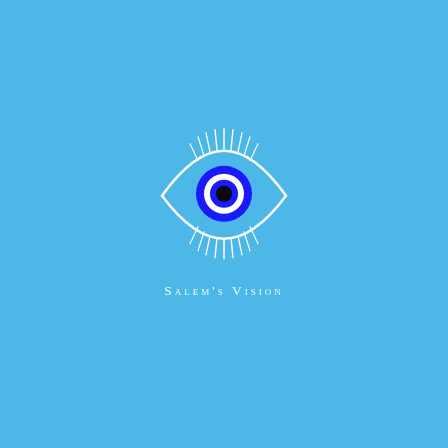[Figure (logo): Salem's Vision logo: a stylized evil eye (nazar) symbol in white outline with blue concentric circles (dark blue outer, white middle, black pupil), surrounded by radiating lash/spike lines above and below, on a sky-blue background. Below the eye, the text 'Salem's Vision' in small-caps serif white lettering.]
Salem's Vision